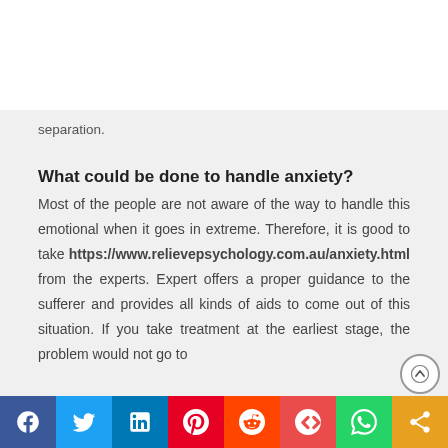separation.
What could be done to handle anxiety?
Most of the people are not aware of the way to handle this emotional when it goes in extreme. Therefore, it is good to take https://www.relievepsychology.com.au/anxiety.html from the experts. Expert offers a proper guidance to the sufferer and provides all kinds of aids to come out of this situation. If you take treatment at the earliest stage, the problem would not go to
Social share bar: Facebook, Twitter, LinkedIn, Pinterest, Reddit, Mix, WhatsApp, Share